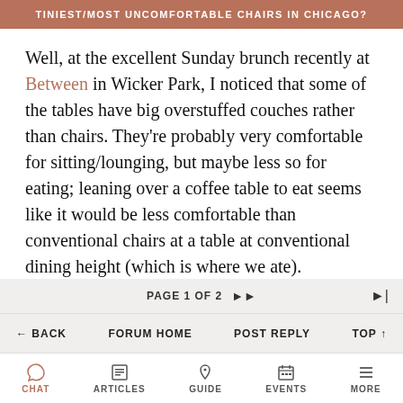TINIEST/MOST UNCOMFORTABLE CHAIRS IN CHICAGO?
Well, at the excellent Sunday brunch recently at Between in Wicker Park, I noticed that some of the tables have big overstuffed couches rather than chairs. They're probably very comfortable for sitting/lounging, but maybe less so for eating; leaning over a coffee table to eat seems like it would be less comfortable than conventional chairs at a table at conventional dining height (which is where we ate).

When seating is exceptionally comfortable, you're probably a lot less likely to notice it and remember it
PAGE 1 OF 2  ▶▶  ▶|  ← BACK  FORUM HOME  POST REPLY  TOP ↑
CHAT  ARTICLES  GUIDE  EVENTS  MORE